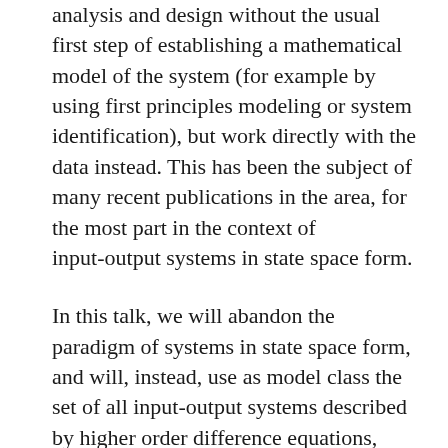analysis and design without the usual first step of establishing a mathematical model of the system (for example by using first principles modeling or system identification), but work directly with the data instead. This has been the subject of many recent publications in the area, for the most part in the context of input-output systems in state space form.
In this talk, we will abandon the paradigm of systems in state space form, and will, instead, use as model class the set of all input-output systems described by higher order difference equations, also called auto-regressive (AR) systems. The unknown dynamical system that we want to analyse or control is assumed to be a member of this model class of AR systems. We